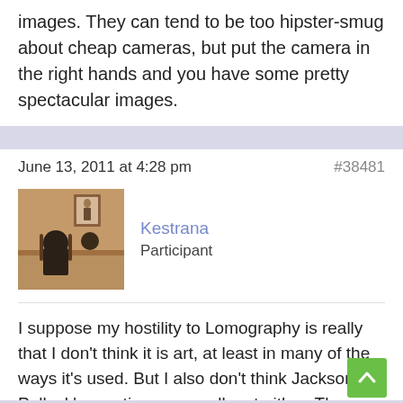images. They can tend to be too hipster-smug about cheap cameras, but put the camera in the right hands and you have some pretty spectacular images.
June 13, 2011 at 4:28 pm  #38481
Kestrana
Participant
I suppose my hostility to Lomography is really that I don't think it is art, at least in many of the ways it's used. But I also don't think Jackson Pollack's creations are really art either. The creative process and thinking behind them, maybe, but the actual productions, no.